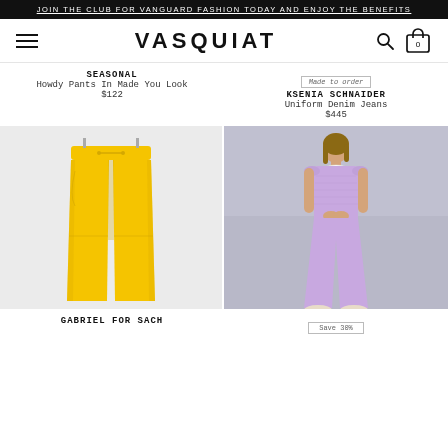JOIN THE CLUB FOR VANGUARD FASHION TODAY AND ENJOY THE BENEFITS
VASQUIAT
SEASONAL
Howdy Pants In Made You Look
$122
Made to order
KSENIA SCHNAIDER
Uniform Denim Jeans
$445
[Figure (photo): Yellow wide-leg drawstring pants on white/grey background]
[Figure (photo): Woman wearing a lavender/purple sleeveless ribbed jumpsuit, full length, on grey background]
GABRIEL FOR SACH
Save 30%